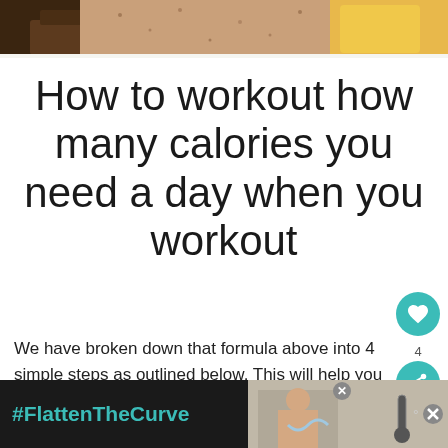[Figure (photo): Partial top image showing food items including chocolate and a banana on a surface, cropped at top of page]
How to workout how many calories you need a day when you workout
We have broken down that formula above into 4 simple steps as outlined below. This will help you to easily work out just how
[Figure (photo): Advertisement banner at bottom showing #FlattenTheCurve text in teal on dark background with a person washing hands image on the right]